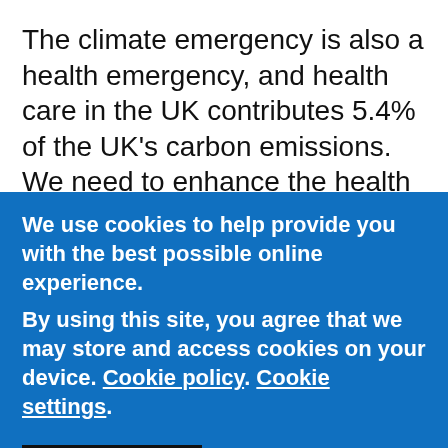The climate emergency is also a health emergency, and health care in the UK contributes 5.4% of the UK's carbon emissions. We need to enhance the health of our current population without compromising the health of future generations, and this means operating within the
We use cookies to help provide you with the best possible online experience.
By using this site, you agree that we may store and access cookies on your device. Cookie policy. Cookie settings.
ACCEPT